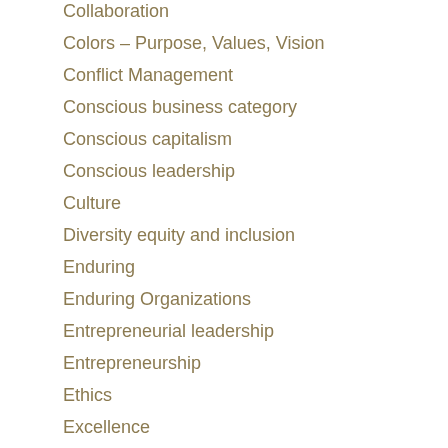Collaboration
Colors – Purpose, Values, Vision
Conflict Management
Conscious business category
Conscious capitalism
Conscious leadership
Culture
Diversity equity and inclusion
Enduring
Enduring Organizations
Entrepreneurial leadership
Entrepreneurship
Ethics
Excellence